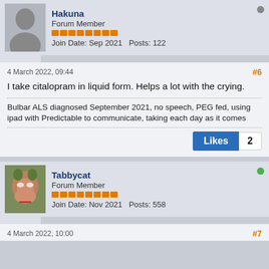Hakuna
Forum Member
Join Date: Sep 2021  Posts: 122
4 March 2022, 09:44
#6
I take citalopram in liquid form. Helps a lot with the crying.
Bulbar ALS diagnosed September 2021, no speech, PEG fed, using ipad with Predictable to communicate, taking each day as it comes
Likes 2
Tabbycat
Forum Member
Join Date: Nov 2021  Posts: 558
4 March 2022, 10:00
#7